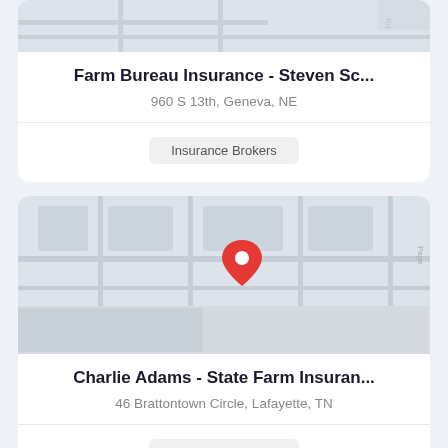[Figure (map): Partial map thumbnail showing streets, cropped at top of card]
Farm Bureau Insurance - Steven Sc...
960 S 13th, Geneva, NE
Insurance Brokers
[Figure (map): Map showing streets with a red location pin marker in center]
Charlie Adams - State Farm Insuran...
46 Brattontown Circle, Lafayette, TN
Insurance Brokers